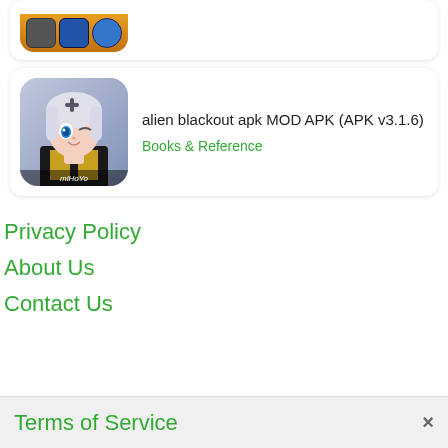[Figure (screenshot): Partial app listing card with icon visible at bottom (cropped from top)]
[Figure (screenshot): App listing card for 'alien blackout apk MOD APK (APK v3.1.6)' with anime character icon from miHoYo, category: Books & Reference]
Privacy Policy
About Us
Contact Us
Terms of Service
Terms of Service   ×